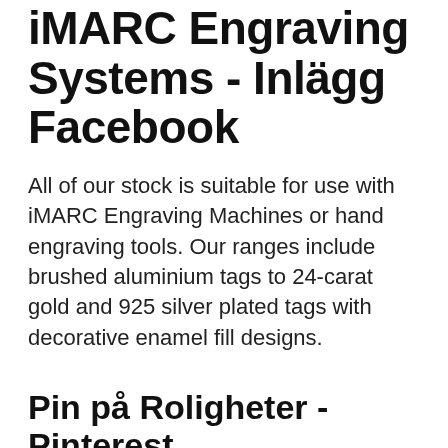iMARC Engraving Systems - Inlägg Facebook
All of our stock is suitable for use with iMARC Engraving Machines or hand engraving tools. Our ranges include brushed aluminium tags to 24-carat gold and 925 silver plated tags with decorative enamel fill designs.
Pin på Roligheter - Pinterest
Diy Hund Behandlar. “Tradeshow Tip: Before you pass out after 3 long days at #SZ15, take time to organize all the info you’ve gathered!” iMARC Engraving SystemsSuperZoo 2015. “Tradeshow